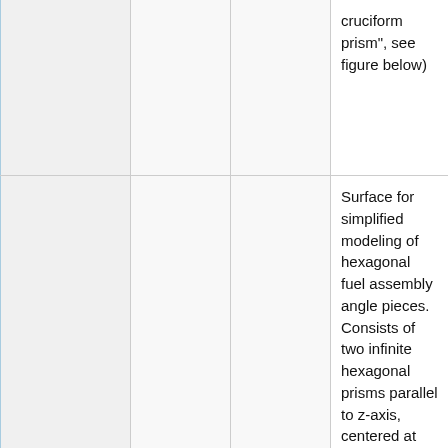|  |  |  | cruciform prism", see figure below) |
|  |  |  | Surface for simplified modeling of hexagonal fuel assembly angle pieces. Consists of two infinite hexagonal prisms parallel to z-axis, centered at (x0, y0), flat surfaces perpendicular to x-axis, with the outer |